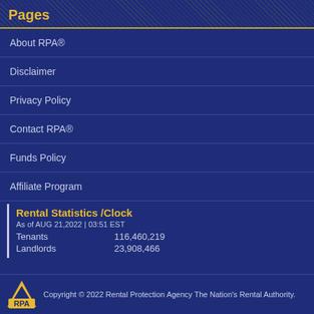Pages
About RPA®
Disclaimer
Privacy Policy
Contact RPA®
Funds Policy
Affiliate Program
Rental Statistics /Clock
As of AUG 21,2022 | 03:51 EST
Tenants    116,460,219
Landlords  23,908,466
Copyright © 2022 Rental Protection Agency The Nation's Rental Authority.